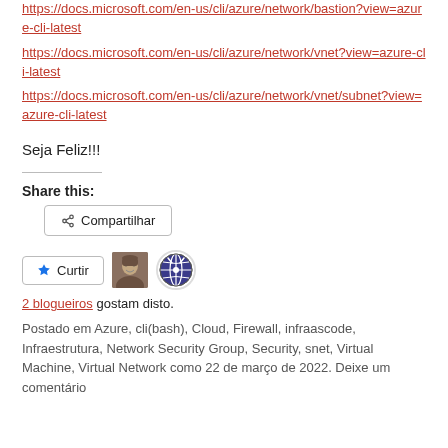https://docs.microsoft.com/en-us/cli/azure/network/bastion?view=azure-cli-latest
https://docs.microsoft.com/en-us/cli/azure/network/vnet?view=azure-cli-latest
https://docs.microsoft.com/en-us/cli/azure/network/vnet/subnet?view=azure-cli-latest
Seja Feliz!!!
Share this:
Compartilhar
Curtir
2 blogueiros gostam disto.
Postado em Azure, cli(bash), Cloud, Firewall, infraascode, Infraestrutura, Network Security Group, Security, snet, Virtual Machine, Virtual Network como 22 de março de 2022. Deixe um comentário